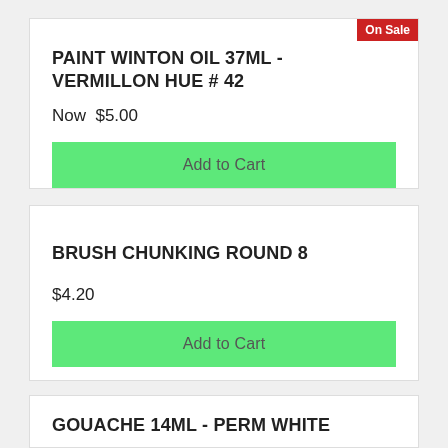PAINT WINTON OIL 37ML - VERMILLON HUE # 42
On Sale
Now  $5.00
Add to Cart
BRUSH CHUNKING ROUND 8
$4.20
Add to Cart
GOUACHE 14ML - PERM WHITE